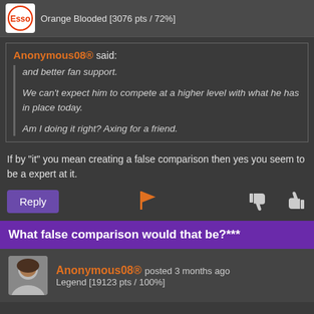Orange Blooded [3076 pts / 72%]
Anonymous08® said:
and better fan support.

We can't expect him to compete at a higher level with what he has in place today.

Am I doing it right? Axing for a friend.
If by "it" you mean creating a false comparison then yes you seem to be a expert at it.
Reply
What false comparison would that be?***
Anonymous08® posted 3 months ago
Legend [19123 pts / 100%]